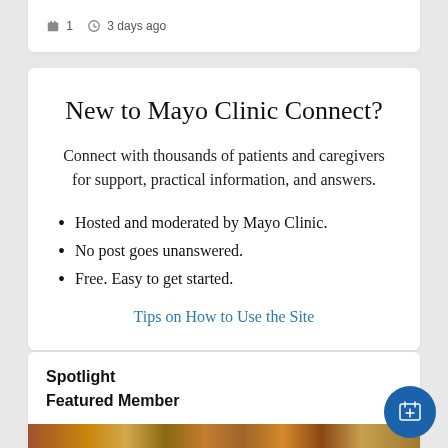1 · 3 days ago
New to Mayo Clinic Connect?
Connect with thousands of patients and caregivers for support, practical information, and answers.
Hosted and moderated by Mayo Clinic.
No post goes unanswered.
Free. Easy to get started.
Tips on How to Use the Site
Spotlight
Featured Member
[Figure (photo): Partial image strip at bottom of page, appears to be a colorful mosaic or quilt photo]